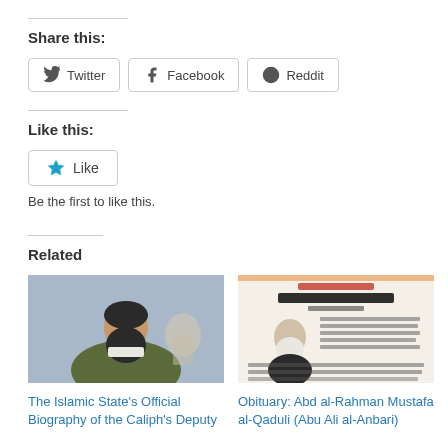Share this:
Twitter
Facebook
Reddit
Like this:
Like
Be the first to like this.
Related
[Figure (photo): Photo of a bearded man in military camouflage with a mosque visible in background]
The Islamic State's Official Biography of the Caliph's Deputy
[Figure (photo): Image of an Arabic-language document/obituary with photo of elderly bearded man]
Obituary: Abd al-Rahman Mustafa al-Qaduli (Abu Ali al-Anbari)